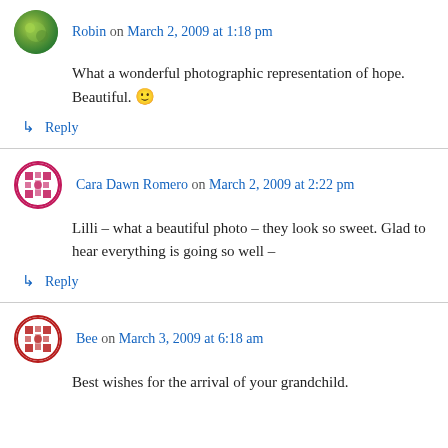Robin on March 2, 2009 at 1:18 pm
What a wonderful photographic representation of hope. Beautiful. 🙂
↳ Reply
Cara Dawn Romero on March 2, 2009 at 2:22 pm
Lilli – what a beautiful photo – they look so sweet. Glad to hear everything is going so well –
↳ Reply
Bee on March 3, 2009 at 6:18 am
Best wishes for the arrival of your grandchild.